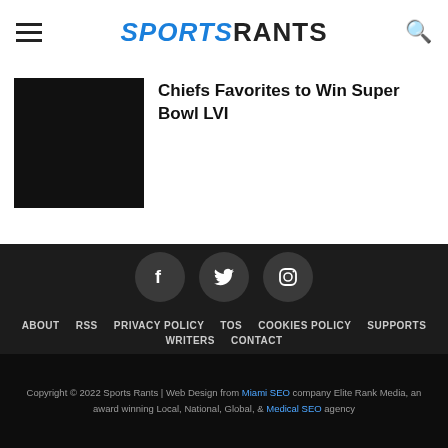SPORTSRANTS
Chiefs Favorites to Win Super Bowl LVI
[Figure (photo): Black thumbnail image for article]
[Figure (illustration): Social media icons: Facebook, Twitter, Instagram in dark circular buttons]
ABOUT
RSS
PRIVACY POLICY
TOS
COOKIES POLICY
SUPPORTS
WRITERS
CONTACT
Copyright © 2022 Sports Rants | Web Design from Miami SEO company Elite Rank Media, an award winning Local, National, Global, & Medical SEO agency